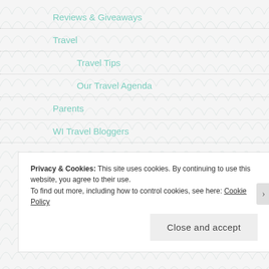Reviews & Giveaways
Travel
Travel Tips
Our Travel Agenda
Parents
WI Travel Bloggers
Privacy & Cookies: This site uses cookies. By continuing to use this website, you agree to their use.
To find out more, including how to control cookies, see here: Cookie Policy
Close and accept